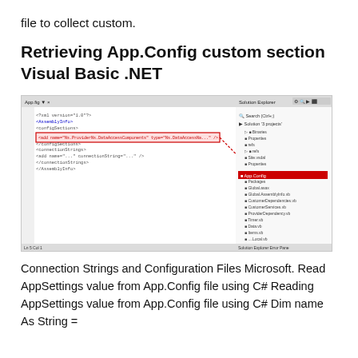file to collect custom.
Retrieving App.Config custom section Visual Basic .NET
[Figure (screenshot): Screenshot of Visual Studio IDE showing an App.Config XML file open in the editor with a highlighted section (red rectangle) and Solution Explorer panel on the right with a project file highlighted in red.]
Connection Strings and Configuration Files Microsoft. Read AppSettings value from App.Config file using C# Reading AppSettings value from App.Config file using C# Dim name As String =